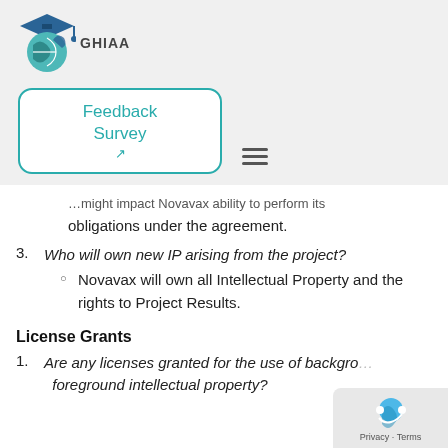[Figure (logo): GHIAA logo — globe with graduation cap and puzzle pieces, teal and dark blue colors, with text 'GHIAA' to the right]
[Figure (screenshot): Rounded rectangle button with teal border and teal text reading 'Feedback Survey' with an arrow icon]
…might impact Novavax ability to perform its obligations under the agreement.
3. Who will own new IP arising from the project?
Novavax will own all Intellectual Property and the rights to Project Results.
License Grants
1. Are any licenses granted for the use of background or foreground intellectual property?